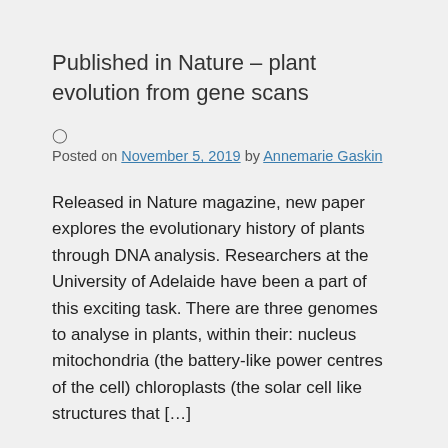Published in Nature – plant evolution from gene scans
Posted on November 5, 2019 by Annemarie Gaskin
Released in Nature magazine, new paper explores the evolutionary history of plants through DNA analysis. Researchers at the University of Adelaide have been a part of this exciting task. There are three genomes to analyse in plants, within their: nucleus mitochondria (the battery-like power centres of the cell) chloroplasts (the solar cell like structures that […]